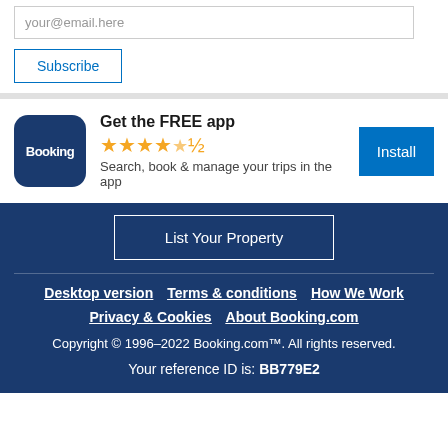your@email.here
Subscribe
[Figure (logo): Booking.com app icon - dark blue rounded square with white text 'Booking']
Get the FREE app
★★★★½
Search, book & manage your trips in the app
Install
List Your Property
Desktop version   Terms & conditions   How We Work
Privacy & Cookies   About Booking.com
Copyright © 1996–2022 Booking.com™. All rights reserved.
Your reference ID is: BB779E2